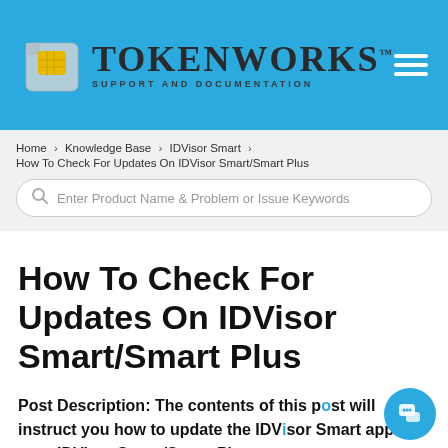[Figure (logo): TokenWorks logo with SIM card icon and text 'TOKENWORKS SUPPORT AND DOCUMENTATION' on blue header background]
Home > Knowledge Base > IDVisor Smart > How To Check For Updates On IDVisor Smart/Smart Plus
How To Check For Updates On IDVisor Smart/Smart Plus
Post Description: The contents of this post will instruct you how to update the IDVisor Smart app on your IDVisor Smart/Smart Plus